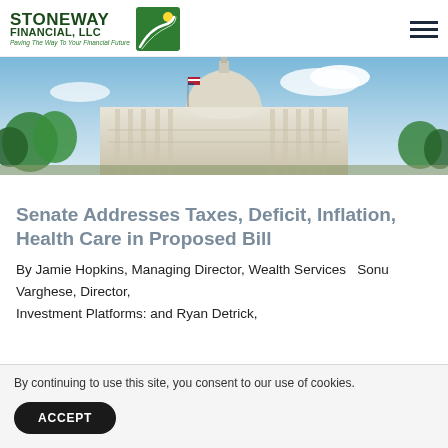STONEWAY FINANCIAL, LLC — Paving The Way To Your Financial Future
[Figure (photo): Capitol building with American flag and trees in the background, wide-angle daytime shot]
Senate Addresses Taxes, Deficit, Inflation, Health Care in Proposed Bill
By Jamie Hopkins, Managing Director, Wealth Services  Sonu Varghese, Director, Investment Platforms: and Ryan Detrick,
By continuing to use this site, you consent to our use of cookies.
ACCEPT